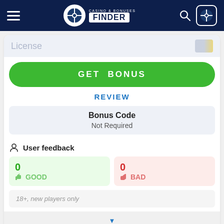[Figure (screenshot): Casino & Bonuses Finder website header with navigation hamburger menu, logo, search icon, and user icon on dark navy background]
License
GET BONUS
REVIEW
Bonus Code
Not Required
User feedback
0 GOOD
0 BAD
18+, new players only
Cashable
Rating: